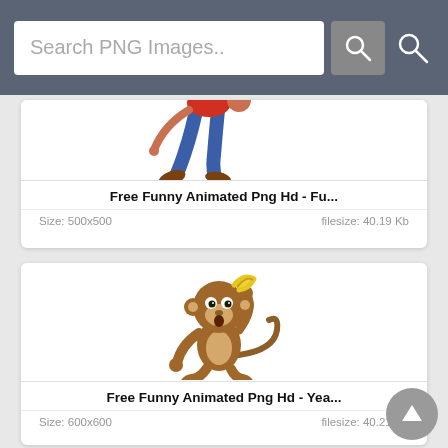Search PNG Images..
[Figure (illustration): Cartoon character (person in red shirt and blue jeans, bent over) - partial view, cropped at top]
Free Funny Animated Png Hd - Fu...
Size: 500x500     filesize: 40.19 Kb
[Figure (illustration): Cartoon monkey scratching its head, standing upright, brown fur with cream belly]
Free Funny Animated Png Hd - Yea...
Size: 600x600     filesize: 40.21 Kb